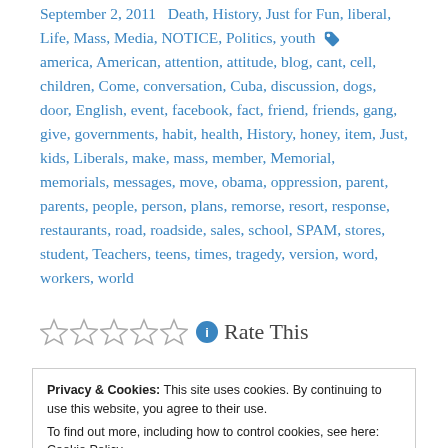September 2, 2011  Death, History, Just for Fun, liberal, Life, Mass, Media, NOTICE, Politics, youth  america, American, attention, attitude, blog, cant, cell, children, Come, conversation, Cuba, discussion, dogs, door, English, event, facebook, fact, friend, friends, gang, give, governments, habit, health, History, honey, item, Just, kids, Liberals, make, mass, member, Memorial, memorials, messages, move, obama, oppression, parent, parents, people, person, plans, remorse, resort, response, restaurants, road, roadside, sales, school, SPAM, stores, student, Teachers, teens, times, tragedy, version, word, workers, world
Rate This
Privacy & Cookies: This site uses cookies. By continuing to use this website, you agree to their use.
To find out more, including how to control cookies, see here: Cookie Policy
Close and accept
there phone call than checking out. Really, you